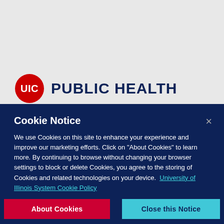[Figure (logo): UIC Public Health logo — red circle with 'UIC' text in white next to bold dark navy 'PUBLIC HEALTH' text]
Cookie Notice
We use Cookies on this site to enhance your experience and improve our marketing efforts. Click on "About Cookies" to learn more. By continuing to browse without changing your browser settings to block or delete Cookies, you agree to the storing of Cookies and related technologies on your device. University of Illinois System Cookie Policy
About Cookies
Close this Notice